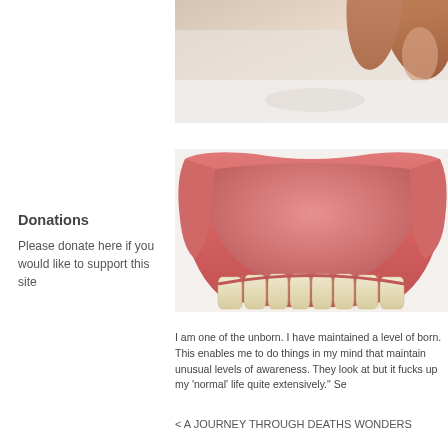[Figure (photo): Close-up photo of fingers/hand against a light background, partially cropped, showing the upper portion of the image]
[Figure (photo): Close-up photo of a dental denture (upper denture set) showing pink acrylic base and white artificial teeth against a white background]
Donations
Please donate here if you would like to support this site
I am one of the unborn. I have maintained a level of born. This enables me to do things in my mind that maintain unusual levels of awareness. They look at but it fucks up my 'normal' life quite extensively." Se
< A JOURNEY THROUGH DEATHS WONDERS